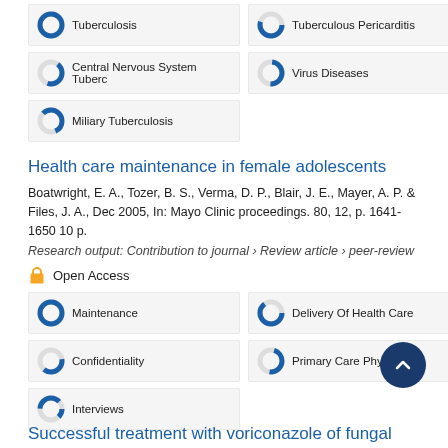Tuberculosis
Tuberculous Pericarditis
Central Nervous System Tuberc
Virus Diseases
Miliary Tuberculosis
Health care maintenance in female adolescents
Boatwright, E. A., Tozer, B. S., Verma, D. P., Blair, J. E., Mayer, A. P. & Files, J. A., Dec 2005, In: Mayo Clinic proceedings. 80, 12, p. 1641-1650 10 p.
Research output: Contribution to journal › Review article › peer-review
Open Access
Maintenance
Delivery Of Health Care
Confidentiality
Primary Care Physicians
Interviews
Successful treatment with voriconazole of fungal